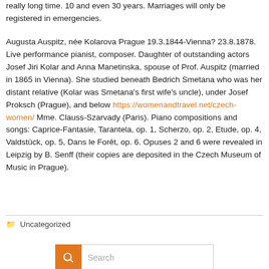really long time. 10 and even 30 years. Marriages will only be registered in emergencies.
Augusta Auspitz, née Kolarova Prague 19.3.1844-Vienna? 23.8.1878. Live performance pianist, composer. Daughter of outstanding actors Josef Jiri Kolar and Anna Manetinska, spouse of Prof. Auspitz (married in 1865 in Vienna). She studied beneath Bedrich Smetana who was her distant relative (Kolar was Smetana's first wife's uncle), under Josef Proksch (Prague), and below https://womenandtravel.net/czech-women/ Mme. Clauss-Szarvady (Paris). Piano compositions and songs: Caprice-Fantasie, Tarantela, op. 1, Scherzo, op. 2, Etude, op. 4, Valdstück, op. 5, Dans le Forêt, op. 6. Opuses 2 and 6 were revealed in Leipzig by B. Senff (their copies are deposited in the Czech Museum of Music in Prague).
Uncategorized